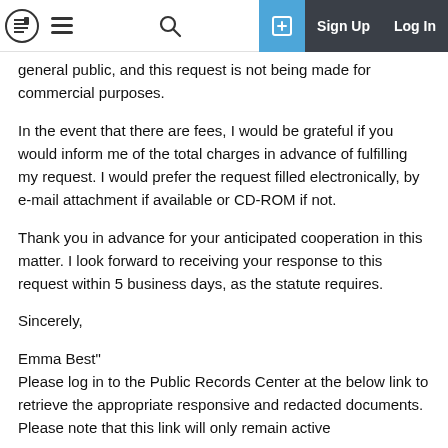Navigation bar with logo, hamburger menu, search icon, sign up and log in buttons
The requested document will be made available to the general public, and this request is not being made for commercial purposes.
In the event that there are fees, I would be grateful if you would inform me of the total charges in advance of fulfilling my request. I would prefer the request filled electronically, by e-mail attachment if available or CD-ROM if not.
Thank you in advance for your anticipated cooperation in this matter. I look forward to receiving your response to this request within 5 business days, as the statute requires.
Sincerely,
Emma Best"
Please log in to the Public Records Center at the below link to retrieve the appropriate responsive and redacted documents. Please note that this link will only remain active